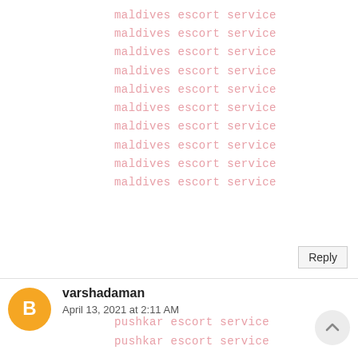maldives escort service
maldives escort service
maldives escort service
maldives escort service
maldives escort service
maldives escort service
maldives escort service
maldives escort service
maldives escort service
maldives escort service
Reply
varshadaman
April 13, 2021 at 2:11 AM
pushkar escort service
pushkar escort service